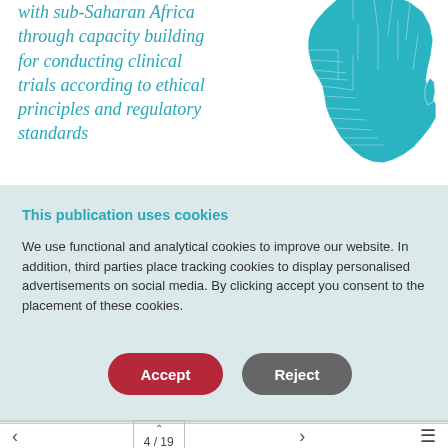with sub-Saharan Africa through capacity building for conducting clinical trials according to ethical principles and regulatory standards
[Figure (map): Teal/cyan colored map of Africa showing country borders]
This publication uses cookies
We use functional and analytical cookies to improve our website. In addition, third parties place tracking cookies to display personalised advertisements on social media. By clicking accept you consent to the placement of these cookies.
4 / 19